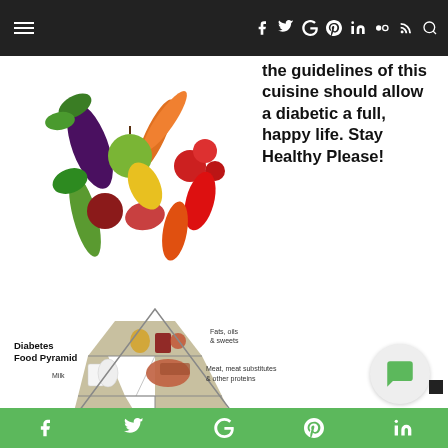Navigation bar with hamburger menu and social icons (f, twitter, G+, pinterest, in, flickr, rss, search)
[Figure (photo): Heart-shaped arrangement of colorful vegetables and fruits including eggplant, carrots, tomatoes, green apple on a white background]
the guidelines of this cuisine should allow a diabetic a full, happy life. Stay Healthy Please!
[Figure (infographic): Diabetes Food Pyramid showing multiple tiers: bottom - Breads, grains & other starches; Vegetables and Fruits; Milk and Meat, meat substitutes & other proteins; top - Fats, oils & sweets. Labeled A.D.A.M. at bottom.]
Social share icons: Facebook, Twitter, Google, Pinterest, LinkedIn